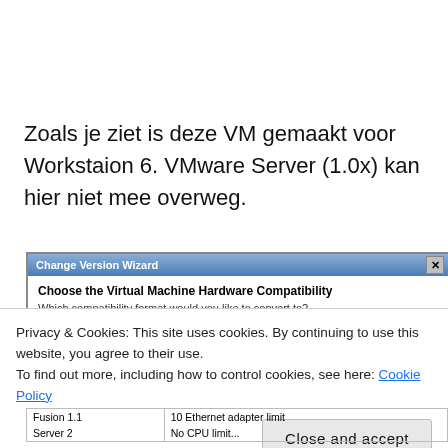Zoals je ziet is deze VM gemaakt voor Workstaion 6. VMware Server (1.0x) kan hier niet mee overweg.
[Figure (screenshot): Change Version Wizard dialog window showing 'Choose the Virtual Machine Hardware Compatibility' and subtitle 'Which compatibility format would you like to convert to?']
Privacy & Cookies: This site uses cookies. By continuing to use this website, you agree to their use.
To find out more, including how to control cookies, see here: Cookie Policy
| Fusion 1.1 | 10 Ethernet adapter limit |
| --- | --- |
| Server 2 | No CPU limit... |